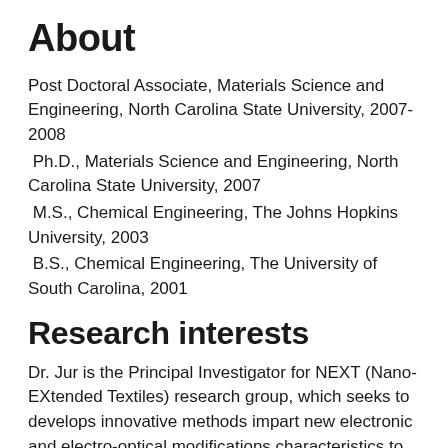About
Post Doctoral Associate, Materials Science and Engineering, North Carolina State University, 2007-2008
Ph.D., Materials Science and Engineering, North Carolina State University, 2007
M.S., Chemical Engineering, The Johns Hopkins University, 2003
B.S., Chemical Engineering, The University of South Carolina, 2001
Research interests
Dr. Jur is the Principal Investigator for NEXT (Nano-EXtended Textiles) research group, which seeks to develops innovative methods impart new electronic and electro-optical modifications characteristics to polymer films, fibers, and fabrics. We are inspired by a